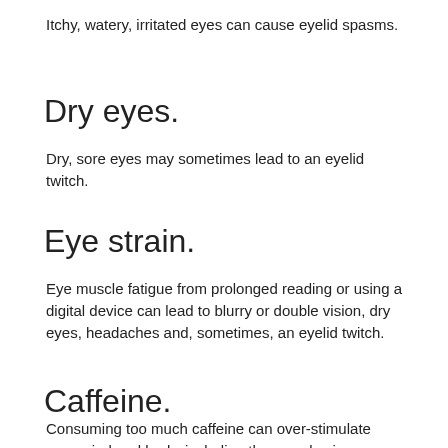Itchy, watery, irritated eyes can cause eyelid spasms.
Dry eyes.
Dry, sore eyes may sometimes lead to an eyelid twitch.
Eye strain.
Eye muscle fatigue from prolonged reading or using a digital device can lead to blurry or double vision, dry eyes, headaches and, sometimes, an eyelid twitch.
Caffeine.
Consuming too much caffeine can over-stimulate your mind and body, including the muscles in your